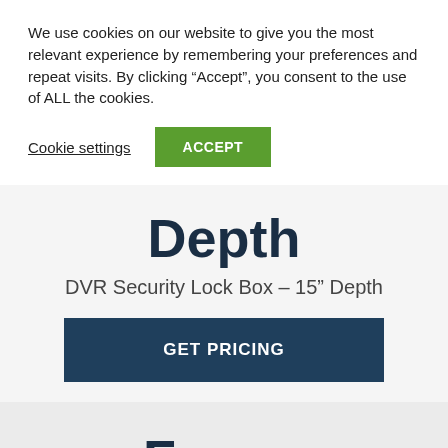We use cookies on our website to give you the most relevant experience by remembering your preferences and repeat visits. By clicking “Accept”, you consent to the use of ALL the cookies.
Cookie settings
ACCEPT
Depth
DVR Security Lock Box – 15” Depth
GET PRICING
Frame